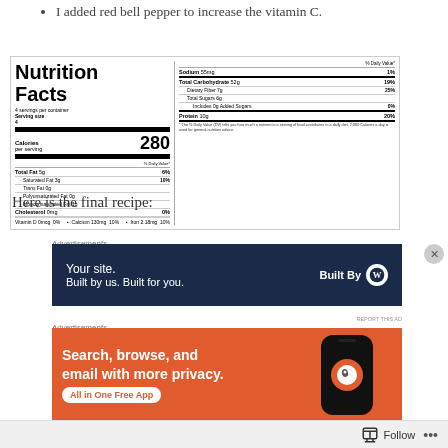I added red bell pepper to increase the vitamin C.
[Figure (other): Nutrition Facts label showing 4 servings per container, serving size 4, Calories 280. Total Fat 5g 6%, Saturated Fat 3g 10%, Trans Fat 0g, Polyunsaturated Fat 0g, Monounsaturated Fat 1g, Cholesterol 0mg 0%, Sodium 55mg 1%, Total Carbohydrate 52g 19%, Dietary Fiber 7g 25%, Total Sugars 6g, Includes 0g Added Sugars 0%, Protein 10g 20%, Vitamin D 0mcg 0%, Calcium 130mg 10%, Iron 2.18mg 10%.]
Here is the final recipe:
[Figure (screenshot): Advertisement banner: 'Your site. Built by us. Built for you.' with WordPress Built By logo on dark navy background]
[Figure (screenshot): Advertisement banner for DuckDuckGo: 'Search, browse, and email with more privacy. All in One Free App' on orange background with phone mockup]